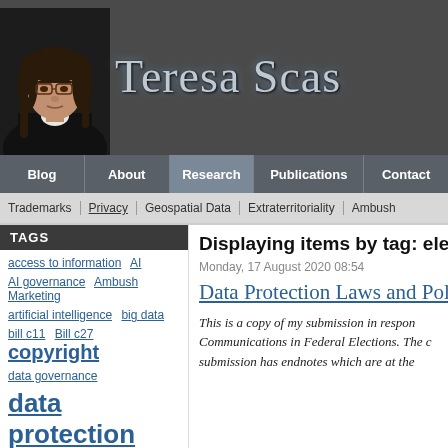[Figure (photo): Screenshot of a personal/academic website for Teresa Scassa with a header showing a photo of a woman with dark hair and glasses, a navigation bar with Blog, About, Research, Publications, Contact, and a sub-navigation showing Trademarks, Privacy, Geospatial Data, Extraterritoriality, Ambush. The main content shows a Tags sidebar on the left with various topic tags, and article content on the right showing 'Displaying items by tag: electio...' with an article titled 'Data Protection Laws and Pol...' dated Monday, 17 August 2020 08:54 and introductory italic text.]